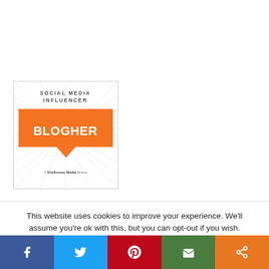[Figure (logo): BlogHer Social Media Influencer badge with orange speech bubble, sunburst background, and text 'A SheKnows Media Brand']
This website uses cookies to improve your experience. We'll assume you're ok with this, but you can opt-out if you wish.
[Figure (infographic): Social sharing bar with Facebook, Twitter, Pinterest, Email, and Share buttons]